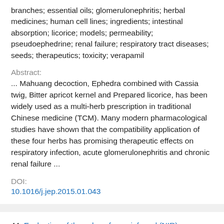branches; essential oils; glomerulonephritis; herbal medicines; human cell lines; ingredients; intestinal absorption; licorice; models; permeability; pseudoephedrine; renal failure; respiratory tract diseases; seeds; therapeutics; toxicity; verapamil
Abstract:
... Mahuang decoction, Ephedra combined with Cassia twig, Bitter apricot kernel and Prepared licorice, has been widely used as a multi-herb prescription in traditional Chinese medicine (TCM). Many modern pharmacological studies have shown that the compatibility application of these four herbs has promising therapeutic effects on respiratory infection, acute glomerulonephritis and chronic renal failure ...
DOI:
10.1016/j.jep.2015.01.043
44. Evaluation of the value of near infrared (NIR) spectromicroscopy for the analysis of glycyrrizhic acid in